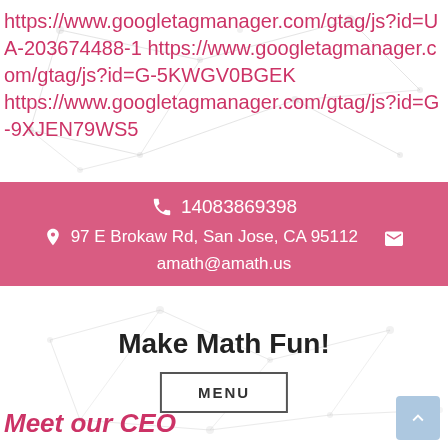https://www.googletagmanager.com/gtag/js?id=UA-203674488-1 https://www.googletagmanager.com/gtag/js?id=G-5KWGV0BGEK https://www.googletagmanager.com/gtag/js?id=G-9XJEN79WS5
14083869398
97 E Brokaw Rd, San Jose, CA 95112
amath@amath.us
Make Math Fun!
MENU
Meet our CEO